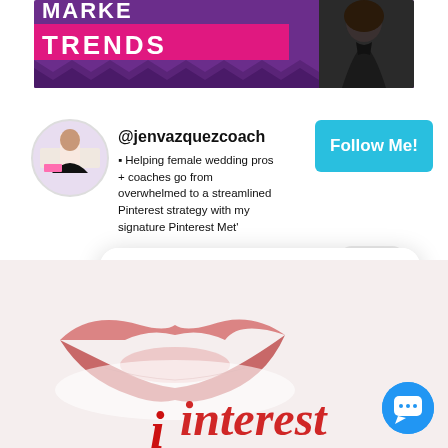[Figure (screenshot): Top banner with purple/magenta background showing 'MARKE' and 'TRENDS' text in white bold font, with a person in black clothing on the right side and pink strip overlay. Zigzag wave pattern at bottom of banner.]
[Figure (screenshot): Pinterest profile card showing '@jenvazquezcoach' handle with profile avatar, bio text about helping female wedding pros, a cyan 'Follow Me!' button, and a 'close' button.]
@jenvazquezcoach
⬛ Helping female wedding pros + coaches go from overwhelmed to a streamlined Pinterest strategy with my signature Pinterest Met'
[Figure (screenshot): Chat popup widget showing avatar with pink border, text 'Hi there, have a question? Text us here.' and blue circular chat icon in bottom right.]
Hi there, have a question? Text us here.
[Figure (photo): Bottom portion showing pink/rose colored lips on white background with partial Pinterest logo text visible in red script font at bottom right.]